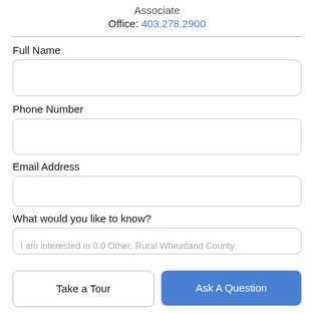Associate
Office: 403.278.2900
Full Name
Phone Number
Email Address
What would you like to know?
I am interested in 0.0 Other, Rural Wheatland County,
Take a Tour
Ask A Question